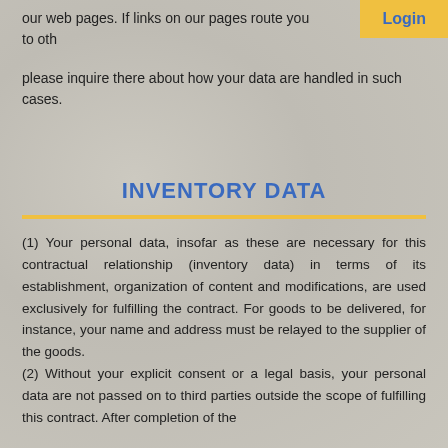our web pages. If links on our pages route you to oth
[Figure (other): Login button in yellow/gold background with blue bold text 'Login']
please inquire there about how your data are handled in such cases.
INVENTORY DATA
(1) Your personal data, insofar as these are necessary for this contractual relationship (inventory data) in terms of its establishment, organization of content and modifications, are used exclusively for fulfilling the contract. For goods to be delivered, for instance, your name and address must be relayed to the supplier of the goods.
(2) Without your explicit consent or a legal basis, your personal data are not passed on to third parties outside the scope of fulfilling this contract. After completion of the